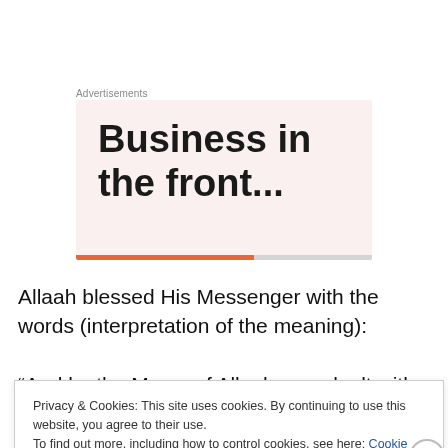Advertisements
[Figure (other): Advertisement banner with bold text 'Business in the front...' on a light pink/cream background with an orange underline decoration]
Allaah blessed His Messenger with the words (interpretation of the meaning):
“And by the Mercy of Allaah, you dealt with them gently.
Privacy & Cookies: This site uses cookies. By continuing to use this website, you agree to their use.
To find out more, including how to control cookies, see here: Cookie Policy